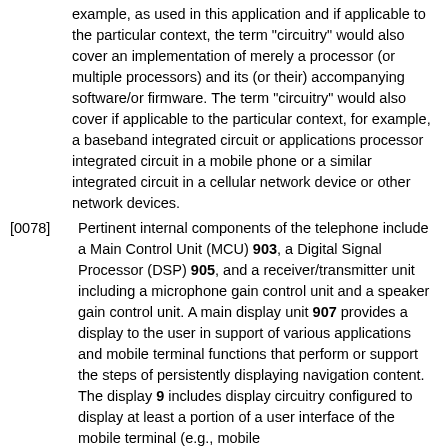example, as used in this application and if applicable to the particular context, the term "circuitry" would also cover an implementation of merely a processor (or multiple processors) and its (or their) accompanying software/or firmware. The term "circuitry" would also cover if applicable to the particular context, for example, a baseband integrated circuit or applications processor integrated circuit in a mobile phone or a similar integrated circuit in a cellular network device or other network devices.
[0078] Pertinent internal components of the telephone include a Main Control Unit (MCU) 903, a Digital Signal Processor (DSP) 905, and a receiver/transmitter unit including a microphone gain control unit and a speaker gain control unit. A main display unit 907 provides a display to the user in support of various applications and mobile terminal functions that perform or support the steps of persistently displaying navigation content. The display 9 includes display circuitry configured to display at least a portion of a user interface of the mobile terminal (e.g., mobile